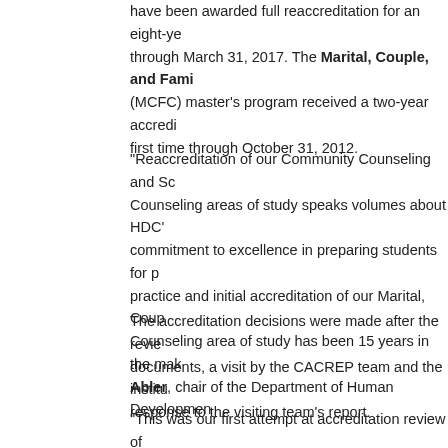have been awarded full reaccreditation for an eight-year period through March 31, 2017. The Marital, Couple, and Family Counseling (MCFC) master's program received a two-year accreditation for the first time through October 31, 2012.
"Reaccreditation of our Community Counseling and School Counseling areas of study speaks volumes about HDC's commitment to excellence in preparing students for professional practice and initial accreditation of our Marital, Couple, and Family Counseling area of study has been 15 years in the making," said Abler, chair of the Department of Human Development and Counseling.
The accreditation decisions were made after the review of documents, a visit by the CACREP team and the institution's response to the visiting team's report.
"This was our first attempt at accreditation review of